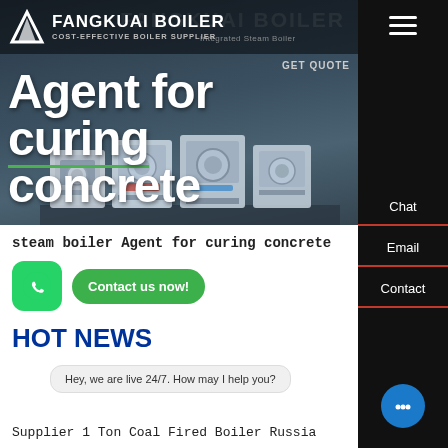[Figure (screenshot): Hero banner of a boiler supplier website showing industrial boiler machinery with dark blue-grey background]
Agent for curing concrete
FANGKUAI BOILER - COST-EFFECTIVE BOILER SUPPLIER
steam boiler Agent for curing concrete
Contact us now!
HOT NEWS
Hey, we are live 24/7. How may I help you?
Supplier 1 Ton Coal Fired Boiler Russia